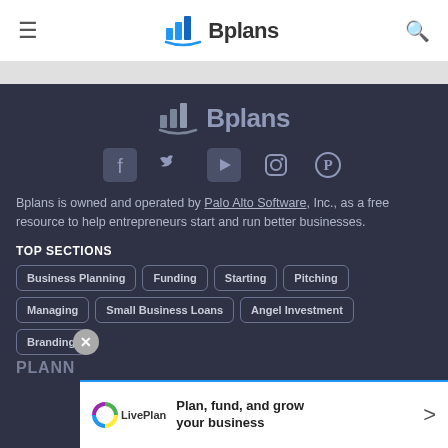≡   Bplans   🔍
[Figure (logo): Bplans logo with bar chart icon in dark footer section]
[Figure (illustration): Social media icons: Facebook, Twitter, YouTube, Instagram, Pinterest]
Bplans is owned and operated by Palo Alto Software, Inc., as a free resource to help entrepreneurs start and run better businesses.
TOP SECTIONS
Business Planning
Funding
Starting
Pitching
Managing
Small Business Loans
Angel Investment
Branding
PLANN
[Figure (infographic): LivePlan banner: Plan, fund, and grow your business with arrow]